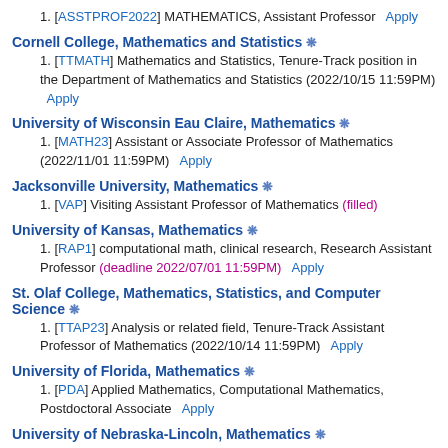1. [ASSTPROF2022] MATHEMATICS, Assistant Professor   Apply
Cornell College, Mathematics and Statistics ❋
1. [TTMATH] Mathematics and Statistics, Tenure-Track position in the Department of Mathematics and Statistics (2022/10/15 11:59PM)   Apply
University of Wisconsin Eau Claire, Mathematics ❋
1. [MATH23] Assistant or Associate Professor of Mathematics (2022/11/01 11:59PM)   Apply
Jacksonville University, Mathematics ❋
1. [VAP] Visiting Assistant Professor of Mathematics (filled)
University of Kansas, Mathematics ❋
1. [RAP1] computational math, clinical research, Research Assistant Professor (deadline 2022/07/01 11:59PM)   Apply
St. Olaf College, Mathematics, Statistics, and Computer Science ❋
1. [TTAP23] Analysis or related field, Tenure-Track Assistant Professor of Mathematics (2022/10/14 11:59PM)   Apply
University of Florida, Mathematics ❋
1. [PDA] Applied Mathematics, Computational Mathematics, Postdoctoral Associate   Apply
University of Nebraska-Lincoln, Mathematics ❋